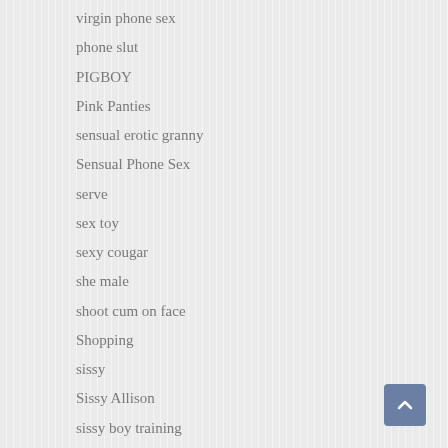virgin phone sex
phone slut
PIGBOY
Pink Panties
sensual erotic granny
Sensual Phone Sex
serve
sex toy
sexy cougar
she male
shoot cum on face
Shopping
sissy
Sissy Allison
sissy boy training
sissy faggot
sissy faggot cocksuckers
sissy faggots